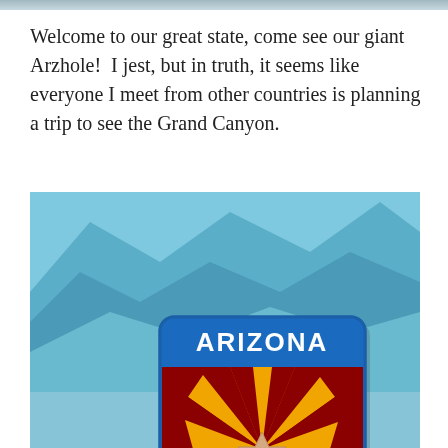Welcome to our great state, come see our giant Arzhole!  I jest, but in truth, it seems like everyone I meet from other countries is planning a trip to see the Grand Canyon.
[Figure (photo): Photo of blue-tinted mountain landscape with an Arizona state welcome road sign in the foreground. The sign has a blue background with 'ARIZONA' in white text at the top and the Arizona state flag (red and yellow sunburst rays over dark red, with a blue lower half and copper star) below.]